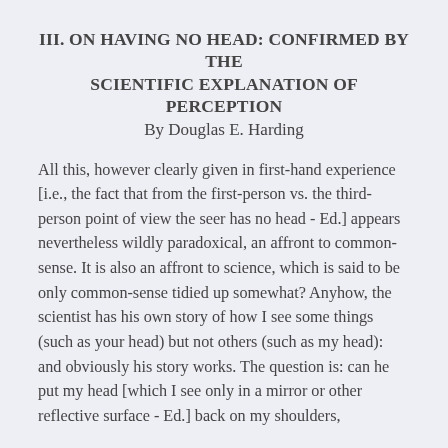III. ON HAVING NO HEAD: CONFIRMED BY THE SCIENTIFIC EXPLANATION OF PERCEPTION By Douglas E. Harding
All this, however clearly given in first-hand experience [i.e., the fact that from the first-person vs. the third-person point of view the seer has no head - Ed.] appears nevertheless wildly paradoxical, an affront to common-sense. It is also an affront to science, which is said to be only common-sense tidied up somewhat? Anyhow, the scientist has his own story of how I see some things (such as your head) but not others (such as my head): and obviously his story works. The question is: can he put my head [which I see only in a mirror or other reflective surface - Ed.] back on my shoulders,